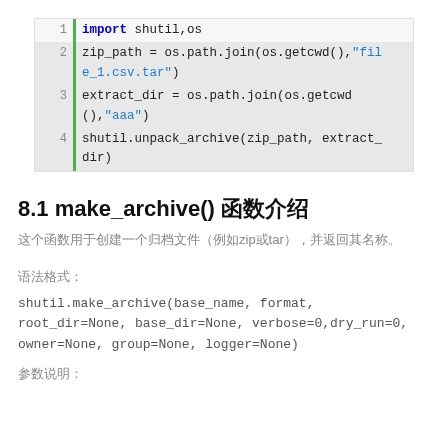[Figure (screenshot): Code block showing Python code with line numbers and green vertical bar. Lines: 1: import shutil,os  2: zip_path = os.path.join(os.getcwd(),"file_1.csv.tar")  3: extract_dir = os.path.join(os.getcwd(),"aaa")  4: shutil.unpack_archive(zip_path, extract_dir)]
8.1 make_archive() 函数介绍
这个函数用于创建一个归档文件（例如zip或tar），并返回其名称。
语法格式：
shutil.make_archive(base_name, format, root_dir=None, base_dir=None, verbose=0,dry_run=0, owner=None, group=None, logger=None)
参数说明：